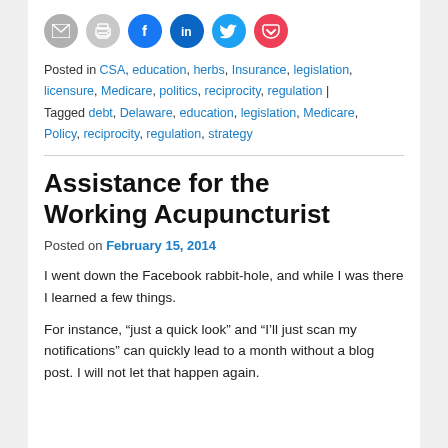[Figure (other): Row of social sharing icon buttons: email (gray), print (gray), Facebook (blue), LinkedIn (dark blue), Twitter (light blue), Pocket (red/pink)]
Posted in CSA, education, herbs, Insurance, legislation, licensure, Medicare, politics, reciprocity, regulation | Tagged debt, Delaware, education, legislation, Medicare, Policy, reciprocity, regulation, strategy
Assistance for the Working Acupuncturist
Posted on February 15, 2014
I went down the Facebook rabbit-hole, and while I was there I learned a few things.
For instance, “just a quick look” and “I’ll just scan my notifications” can quickly lead to a month without a blog post. I will not let that happen again.